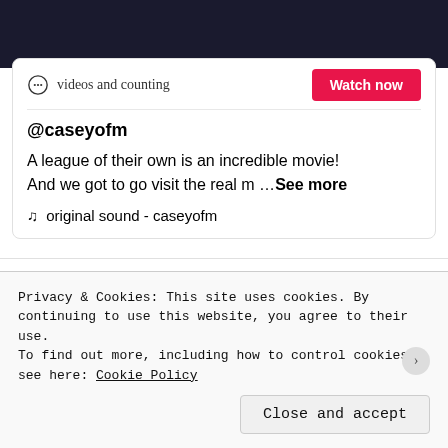[Figure (screenshot): Dark black header area at top of page, part of a TikTok embedded video card]
videos and counting
Watch now
@caseyofm
A league of their own is an incredible movie! And we got to go visit the real m …See more
♫  original sound - caseyofm
Privacy & Cookies: This site uses cookies. By continuing to use this website, you agree to their use.
To find out more, including how to control cookies, see here: Cookie Policy
Close and accept